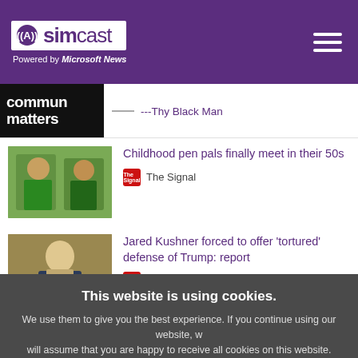simcast — Powered by Microsoft News
---Thy Black Man
Childhood pen pals finally meet in their 50s — The Signal
Jared Kushner forced to offer 'tortured' defense of Trump: report — Raw Story
This website is using cookies. We use them to give you the best experience. If you continue using our website, we will assume that you are happy to receive all cookies on this website.
An Indian Gangster Staged His Death To Escape Multiple Charges – Arrested By Police After 7 Years — Benzinga